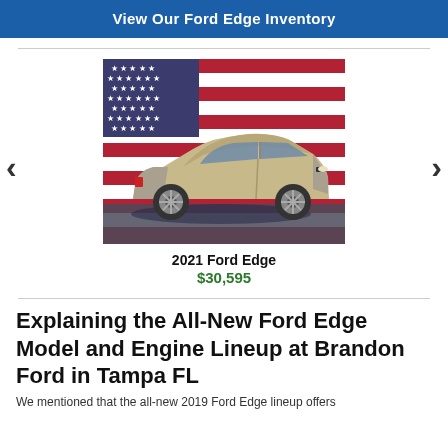View Our Ford Edge Inventory
[Figure (photo): Photo of a 2021 Ford Edge SUV in silver/gold color parked with an American flag background. Navigation arrows on left and right sides.]
2021 Ford Edge
$30,595
Explaining the All-New Ford Edge Model and Engine Lineup at Brandon Ford in Tampa FL
We mentioned that the all-new 2019 Ford Edge lineup offers